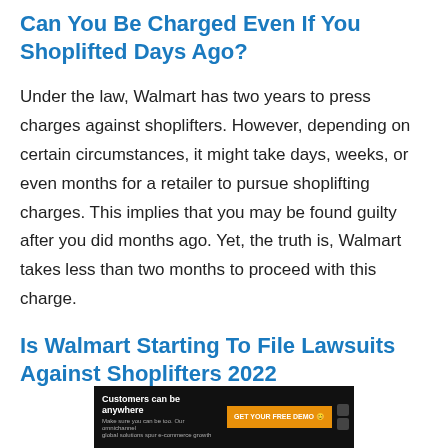Can You Be Charged Even If You Shoplifted Days Ago?
Under the law, Walmart has two years to press charges against shoplifters. However, depending on certain circumstances, it might take days, weeks, or even months for a retailer to pursue shoplifting charges. This implies that you may be found guilty after you did months ago. Yet, the truth is, Walmart takes less than two months to proceed with this charge.
Is Walmart Starting To File Lawsuits Against Shoplifters 2022?
[Figure (other): Advertisement banner: Customers can be anywhere. GET YOUR FREE DEMO. TRANSPARECT logo.]